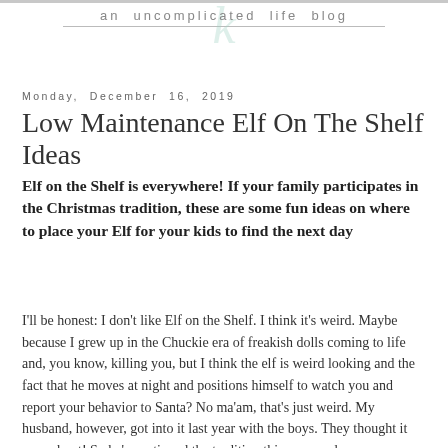an uncomplicated life blog
Monday, December 16, 2019
Low Maintenance Elf On The Shelf Ideas
Elf on the Shelf is everywhere! If your family participates in the Christmas tradition, these are some fun ideas on where to place your Elf for your kids to find the next day
I'll be honest: I don't like Elf on the Shelf. I think it's weird. Maybe because I grew up in the Chuckie era of freakish dolls coming to life and, you know, killing you, but I think the elf is weird looking and the fact that he moves at night and positions himself to watch you and report your behavior to Santa? No ma'am, that's just weird. My husband, however, got into it last year with the boys. They thought it was a hoot! So he's continued the tradition this year, and